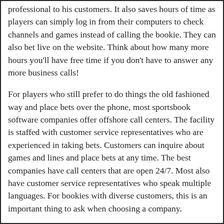professional to his customers. It also saves hours of time as players can simply log in from their computers to check channels and games instead of calling the bookie. They can also bet live on the website. Think about how many more hours you'll have free time if you don't have to answer any more business calls!
For players who still prefer to do things the old fashioned way and place bets over the phone, most sportsbook software companies offer offshore call centers. The facility is staffed with customer service representatives who are experienced in taking bets. Customers can inquire about games and lines and place bets at any time. The best companies have call centers that are open 24/7. Most also have customer service representatives who speak multiple languages. For bookies with diverse customers, this is an important thing to ask when choosing a company.
Many software providers also offer casino software. This is a huge advantage for bookies who want to offer more betting options to their players. By offering online casinos, bookies not only increase the convenience for their